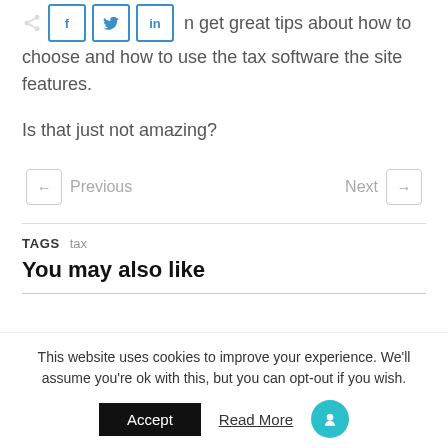get great tips about how to choose and how to use the tax software the site features.
Is that just not amazing?
Previous   Next
TAGS   tax
You may also like
This website uses cookies to improve your experience. We'll assume you're ok with this, but you can opt-out if you wish.